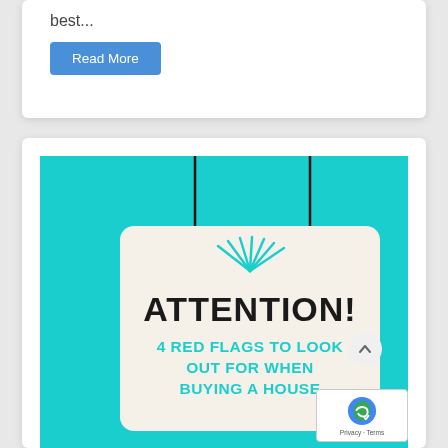best...
Read More
[Figure (infographic): Infographic on teal/turquoise background showing a hanging sign (cream/white card suspended by two black strings from above) with teal radiating lines above the text. Sign reads 'ATTENTION! 4 RED FLAGS TO LOOK OUT FOR WHEN BUYING A HOUSE' in bold dark and teal text.]